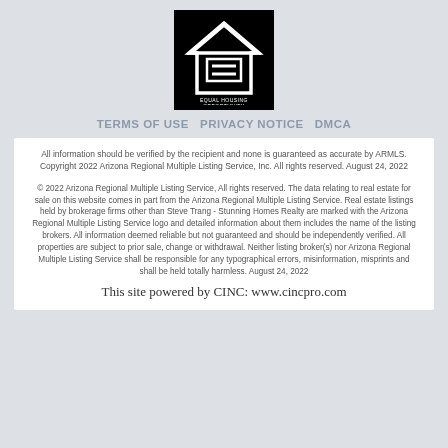[Figure (logo): Equal Housing Opportunity logo — white house with equal sign icon on black background, text reads EQUAL HOUSING OPPORTUNITY]
TERMS OF USE PRIVACY NOTICE DMCA
All information should be verified by the recipient and none is guaranteed as accurate by ARMLS. Copyright 2022 Arizona Regional Multiple Listing Service, Inc. All rights reserved. August 24, 2022
© 2022 Arizona Regional Multiple Listing Service, All rights reserved. The data relating to real estate for sale on this website comes in part from the Arizona Regional Multiple Listing Service. Real estate listings held by brokerage firms other than Steve Trang - Stunning Homes Realty are marked with the Arizona Regional Multiple Listing Service logo and detailed information about them includes the name of the listing brokers. All information deemed reliable but not guaranteed and should be independently verified. All properties are subject to prior sale, change or withdrawal. Neither listing broker(s) nor Arizona Regional Multiple Listing Service shall be responsible for any typographical errors, misinformation, misprints and shall be held totally harmless. August 24, 2022
This site powered by CINC: www.cincpro.com